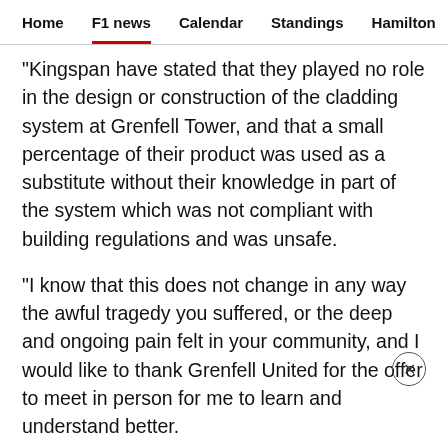Home  F1 news  Calendar  Standings  Hamilton
"Kingspan have stated that they played no role in the design or construction of the cladding system at Grenfell Tower, and that a small percentage of their product was used as a substitute without their knowledge in part of the system which was not compliant with building regulations and was unsafe.
"I know that this does not change in any way the awful tragedy you suffered, or the deep and ongoing pain felt in your community, and I would like to thank Grenfell United for the offer to meet in person for me to learn and understand better.
"I look forward to coming together as soon as we can."
The full letter from Mercedes to Grenfell United can be